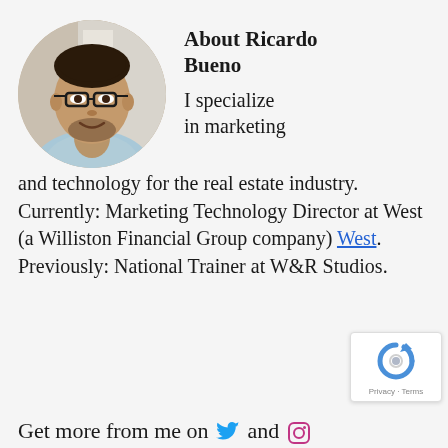[Figure (photo): Circular headshot photo of Ricardo Bueno, a man with glasses and a beard wearing a light blue shirt, smiling.]
About Ricardo Bueno
I specialize in marketing and technology for the real estate industry. Currently: Marketing Technology Director at West (a Williston Financial Group company) West. Previously: National Trainer at W&R Studios.
Get more from me on [Twitter icon] and [Instagram icon]